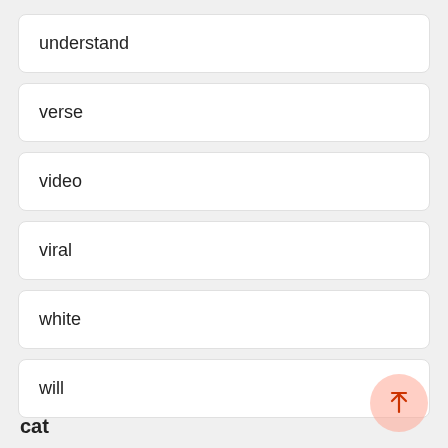understand
verse
video
viral
white
will
cat